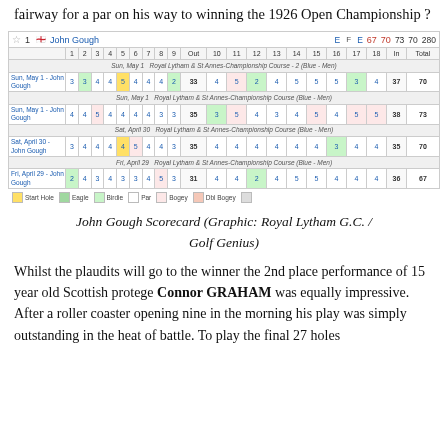fairway for a par on his way to winning the 1926 Open Championship ?
|  | 1 | 2 | 3 | 4 | 5 | 6 | 7 | 8 | 9 | Out | 10 | 11 | 12 | 13 | 14 | 15 | 16 | 17 | 18 | In | Total |
| --- | --- | --- | --- | --- | --- | --- | --- | --- | --- | --- | --- | --- | --- | --- | --- | --- | --- | --- | --- | --- | --- |
| Sun, May 1 Royal Lytham & St Annes-Championship Course - 2 (Blue - Men) |  |  |  |  |  |  |  |  |  |  |  |  |  |  |  |  |  |  |  |  |  |
| Sun, May 1 - John Gough | 3 | 3 | 4 | 4 | 5 | 4 | 4 | 4 | 2 | 33 | 4 | 5 | 2 | 4 | 5 | 5 | 5 | 3 | 4 | 37 | 70 |
| Sun, May 1 Royal Lytham & St Annes-Championship Course (Blue - Men) |  |  |  |  |  |  |  |  |  |  |  |  |  |  |  |  |  |  |  |  |  |
| Sun, May 1 - John Gough | 4 | 4 | 5 | 4 | 4 | 4 | 4 | 3 | 3 | 35 | 3 | 5 | 4 | 3 | 4 | 5 | 4 | 5 | 5 | 38 | 73 |
| Sat, April 30 Royal Lytham & St Annes-Championship Course (Blue - Men) |  |  |  |  |  |  |  |  |  |  |  |  |  |  |  |  |  |  |  |  |  |
| Sat, April 30 - John Gough | 3 | 4 | 4 | 4 | 4 | 5 | 4 | 4 | 3 | 35 | 4 | 4 | 4 | 4 | 4 | 4 | 3 | 4 | 4 | 35 | 70 |
| Fri, April 29 Royal Lytham & St Annes-Championship Course (Blue - Men) |  |  |  |  |  |  |  |  |  |  |  |  |  |  |  |  |  |  |  |  |  |
| Fri, April 29 - John Gough | 2 | 4 | 3 | 4 | 3 | 3 | 4 | 5 | 3 | 31 | 4 | 4 | 2 | 4 | 5 | 5 | 4 | 4 | 4 | 36 | 67 |
John Gough Scorecard (Graphic: Royal Lytham G.C. / Golf Genius)
Whilst the plaudits will go to the winner the 2nd place performance of 15 year old Scottish protege Connor GRAHAM was equally impressive. After a roller coaster opening nine in the morning his play was simply outstanding in the heat of battle. To play the final 27 holes